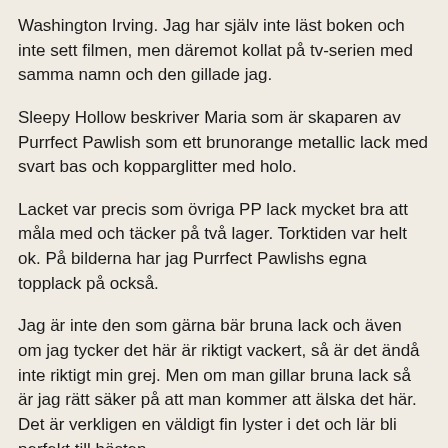Washington Irving. Jag har själv inte läst boken och inte sett filmen, men däremot kollat på tv-serien med samma namn och den gillade jag.
Sleepy Hollow beskriver Maria som är skaparen av Purrfect Pawlish som ett brunorange metallic lack med svart bas och kopparglitter med holo.
Lacket var precis som övriga PP lack mycket bra att måla med och täcker på två lager. Torktiden var helt ok. På bilderna har jag Purrfect Pawlishs egna topplack på också.
Jag är inte den som gärna bär bruna lack och även om jag tycker det här är riktigt vackert, så är det ändå inte riktigt min grej. Men om man gillar bruna lack så är jag rätt säker på att man kommer att älska det här. Det är verkligen en väldigt fin lyster i det och lär bli perfekt till hösten.
Det här och ytterligare två lack som jag kommer visa nästa vecka ingår i Classic Horror Trio som kommer finnas tillgängliga i Purffect Pawlish webstore den 28/8.